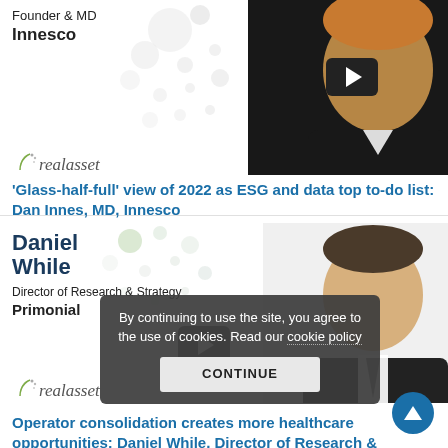Founder & MD
Innesco
[Figure (photo): Photo of Dan Innes, a man with short blond hair, smiling, against dark background, with video play button overlay and decorative dot pattern]
[Figure (logo): realasset (real asset) logo in lowercase italic style]
‘Glass-half-full’ view of 2022 as ESG and data top to-do list: Dan Innes, MD, Innesco
Daniel While
Director of Research & Strategy
Primonial
[Figure (photo): Photo of Daniel While, a man in dark suit and white shirt, smiling, with decorative dot pattern overlay and video play button]
[Figure (logo): realasset logo in lowercase italic style]
Operator consolidation creates more healthcare opportunities: Daniel While, Director of Research &
By continuing to use the site, you agree to the use of cookies. Read our cookie policy
CONTINUE